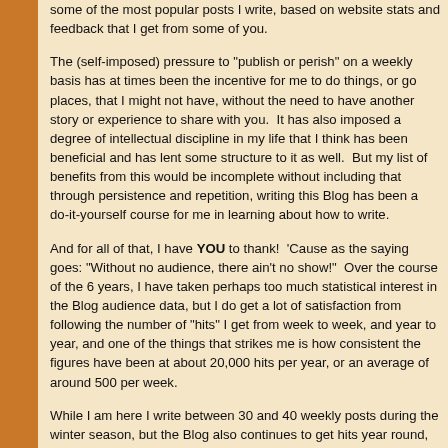some of the most popular posts I write, based on website stats and feedback that I get from some of you.
The (self-imposed) pressure to "publish or perish" on a weekly basis has at times been the incentive for me to do things, or go places, that I might not have, without the need to have another story or experience to share with you.  It has also imposed a degree of intellectual discipline in my life that I think has been beneficial and has lent some structure to it as well.  But my list of benefits from this would be incomplete without including that through persistence and repetition, writing this Blog has been a do-it-yourself course for me in learning about how to write.
And for all of that, I have YOU to thank!  'Cause as the saying goes: "Without no audience, there ain't no show!"  Over the course of the 6 years, I have taken perhaps too much statistical interest in the Blog audience data, but I do get a lot of satisfaction from following the number of "hits" I get from week to week, and year to year, and one of the things that strikes me is how consistent the figures have been at about 20,000 hits per year, or an average of around 500 per week.
While I am here I write between 30 and 40 weekly posts during the winter season, but the Blog also continues to get hits year round, throughout the summer months.  To some extent this "off-season" readership contributes to another Blog Nerd statistic, and that is the on-going popularity of certain posts, all of which can be found in the archive at the top of this page.  I can see the Blog titles and dates of